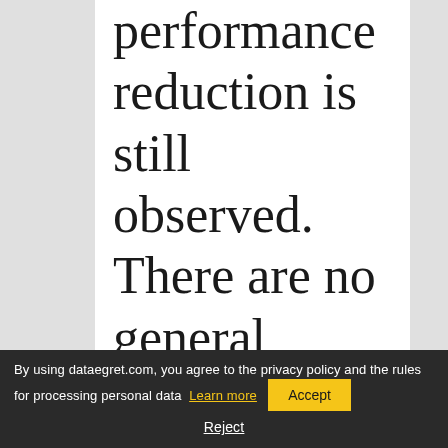performance reduction is still observed. There are no general directions on whether to disable PTI, after all, its goal is to
By using dataegret.com, you agree to the privacy policy and the rules for processing personal data Learn more Accept Reject